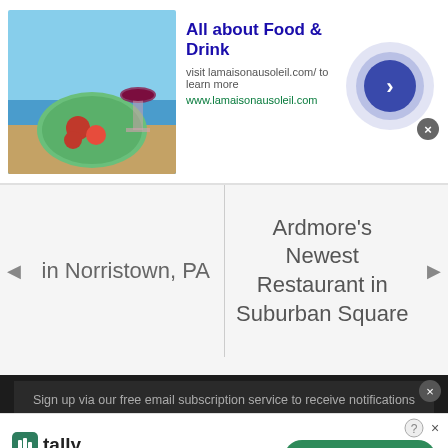[Figure (photo): Ad banner for lamaisonausoleil.com - All about Food & Drink, showing food/drink image on left, text in middle, circular arrow button on right]
in Norristown, PA
Ardmore's Newest Restaurant in Suburban Square
Sign up via our free email subscription service to receive notifications when new information is available.
Name
[Figure (other): Tally app advertisement - Fast credit card payoff with Download Now button]